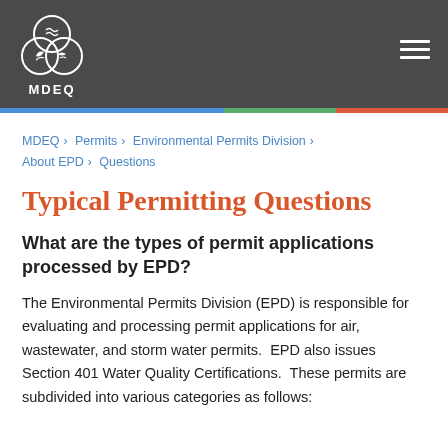MDEQ
MDEQ › Permits › Environmental Permits Division › About EPD › Questions
Typical Permitting Questions
What are the types of permit applications processed by EPD?
The Environmental Permits Division (EPD) is responsible for evaluating and processing permit applications for air, wastewater, and storm water permits.  EPD also issues Section 401 Water Quality Certifications.  These permits are subdivided into various categories as follows: